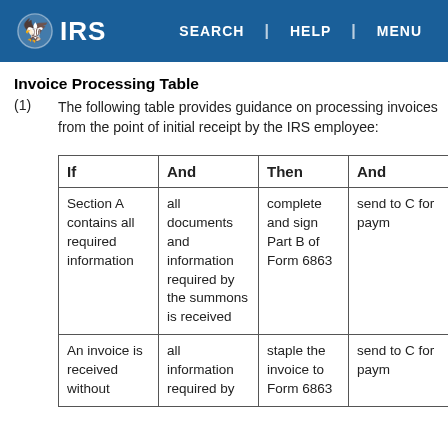IRS | SEARCH | HELP | MENU
Invoice Processing Table
(1) The following table provides guidance on processing invoices from the point of initial receipt by the IRS employee:
| If | And | Then | And |
| --- | --- | --- | --- |
| Section A contains all required information | all documents and information required by the summons is received | complete and sign Part B of Form 6863 | send to C for paym |
| An invoice is received without | all information required by | staple the invoice to Form 6863 | send to C for paym |